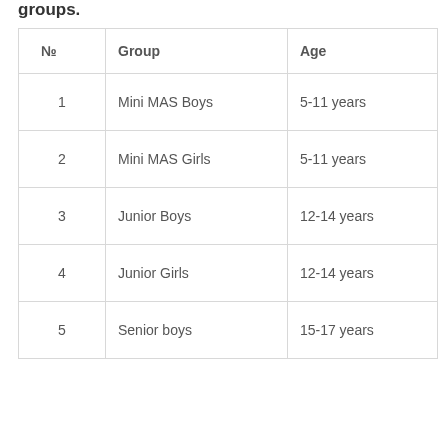groups.
| № | Group | Age |
| --- | --- | --- |
| 1 | Mini MAS Boys | 5-11 years |
| 2 | Mini MAS Girls | 5-11 years |
| 3 | Junior Boys | 12-14 years |
| 4 | Junior Girls | 12-14 years |
| 5 | Senior boys | 15-17 years |